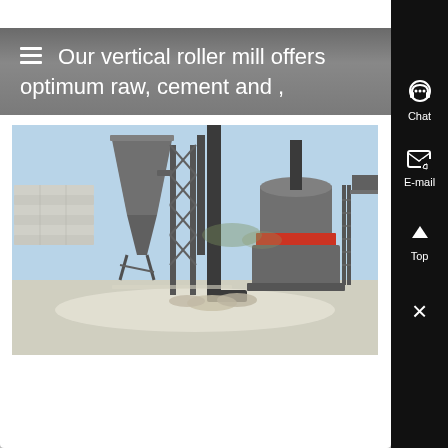Our vertical roller mill offers optimum raw, cement and ,
[Figure (photo): Industrial photo of a vertical roller mill facility with dust collectors, large cylindrical grinding equipment with a red band, metal scaffolding structures, stacked concrete blocks on the left, and bags of material on the ground, under a clear blue sky.]